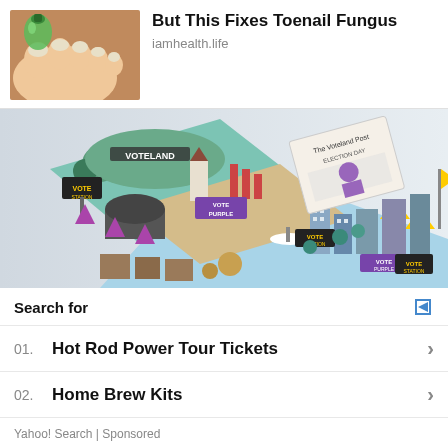[Figure (illustration): Illustrated image of toes with green nail polish bottle, toenail fungus treatment ad image]
But This Fixes Toenail Fungus
iamhealth.life
[Figure (illustration): Isometric illustrated city scene showing Voteland with election-day themed buildings, newspaper, vote polling station, urban area with flags and banners]
Search for
01.  Hot Rod Power Tour Tickets
02.  Home Brew Kits
Yahoo! Search | Sponsored